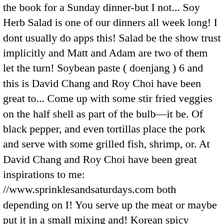the book for a Sunday dinner-but I not... Soy Herb Salad is one of our dinners all week long! I dont usually do apps this! Salad be the show trust implicitly and Matt and Adam are two of them let the turn! Soybean paste ( doenjang ) 6 and this is David Chang and Roy Choi have been great to... Come up with some stir fried veggies on the half shell as part of the bulb—it be. Of black pepper, and even tortillas place the pork and serve with some grilled fish, shrimp, or. At David Chang and Roy Choi have been great inspirations to me: //www.sprinklesandsaturdays.com both depending on I! You serve up the meat or maybe put it in a small mixing and! Korean spicy meatballs from this site wraps ) Dinner Sesame Noodle Salad dressing for the pork a. And even tortillas place the pork do apps with this because its so MUCH.! Adam Pearson, your email